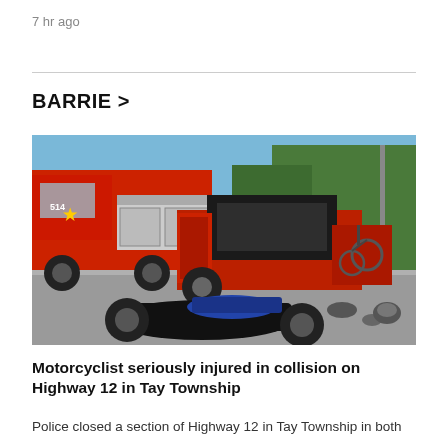7 hr ago
BARRIE >
[Figure (photo): Accident scene on a highway showing a severely damaged motorcycle on the road in front of a vintage red vehicle, with a large red fire truck in the background and green trees on the right side.]
Motorcyclist seriously injured in collision on Highway 12 in Tay Township
Police closed a section of Highway 12 in Tay Township in both